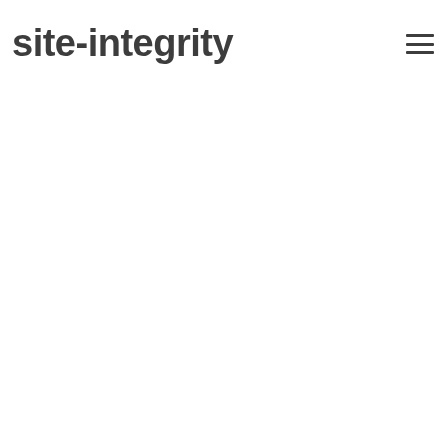site-integrity
[Figure (other): Hamburger menu icon (three horizontal lines) in the top-right corner of the page header]